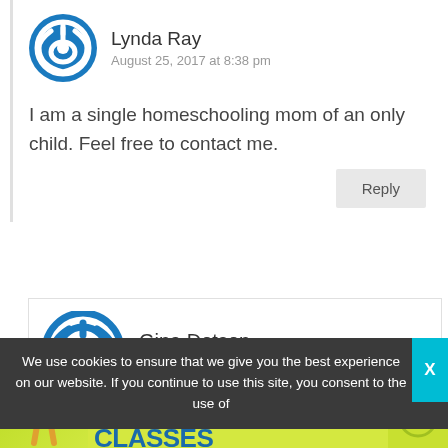Lynda Ray
August 25, 2017 at 8:38 pm
I am a single homeschooling mom of an only child. Feel free to contact me.
Reply
Gina Dotson
April 10, 2018 at 10:04 pm
Hi there! I'm a single mom of only child...
We use cookies to ensure that we give you the best experience on our website. If you continue to use this site, you consent to the use of
[Figure (infographic): LIVE ONLINE STEM CLASSES advertisement banner with MyFunScience.com and Learn more button]